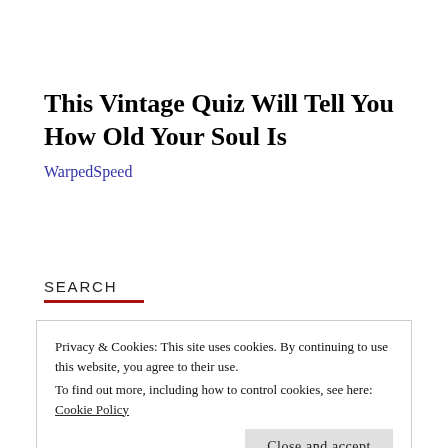This Vintage Quiz Will Tell You How Old Your Soul Is
WarpedSpeed
SEARCH
Privacy & Cookies: This site uses cookies. By continuing to use this website, you agree to their use.
To find out more, including how to control cookies, see here: Cookie Policy
Close and accept